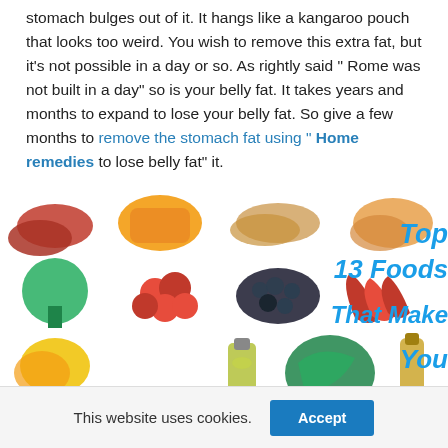stomach bulges out of it. It hangs like a kangaroo pouch that looks too weird. You wish to remove this extra fat, but it's not possible in a day or so. As rightly said " Rome was not built in a day" so is your belly fat. It takes years and months to expand to lose your belly fat. So give a few months to remove the stomach fat using " Home remedies to lose belly fat" it.
[Figure (infographic): Grid of food images including sausages, mango, almonds, dried apricots, broccoli, tomatoes, black seeds, red chili peppers, lemon, olive oil, olive oil bottle, leafy greens, milk bottle, blueberries, onion, and more. Text overlay reads: Top 13 Foods That Make You Lean and [continued below]]
This website uses cookies.